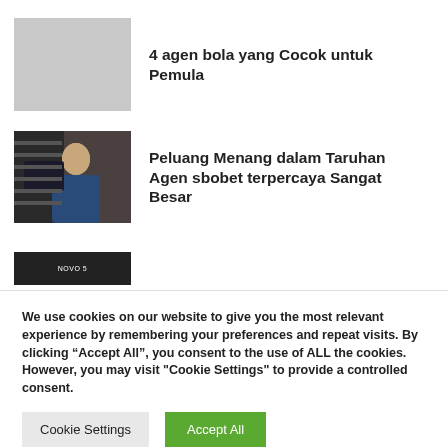[Figure (photo): Gray placeholder thumbnail image]
4 agen bola yang Cocok untuk Pemula
[Figure (photo): Photo of a young man looking at his phone, wearing a blue shirt]
Peluang Menang dalam Taruhan Agen sbobet terpercaya Sangat Besar
[Figure (photo): Partial dark banner with small white text reading 'NOVO 5']
We use cookies on our website to give you the most relevant experience by remembering your preferences and repeat visits. By clicking “Accept All”, you consent to the use of ALL the cookies. However, you may visit "Cookie Settings" to provide a controlled consent.
Cookie Settings
Accept All